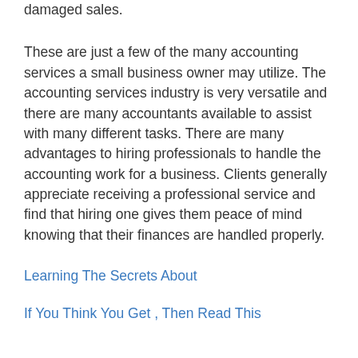damaged sales.
These are just a few of the many accounting services a small business owner may utilize. The accounting services industry is very versatile and there are many accountants available to assist with many different tasks. There are many advantages to hiring professionals to handle the accounting work for a business. Clients generally appreciate receiving a professional service and find that hiring one gives them peace of mind knowing that their finances are handled properly.
Learning The Secrets About
If You Think You Get , Then Read This